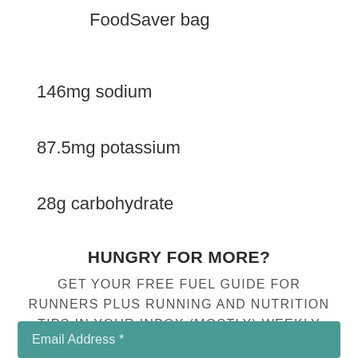FoodSaver bag
146mg sodium
87.5mg potassium
28g carbohydrate
HUNGRY FOR MORE?
GET YOUR FREE FUEL GUIDE FOR RUNNERS PLUS RUNNING AND NUTRITION TIPS IN YOUR INBOX (MOSTLY) WEEKLY
Email Address *